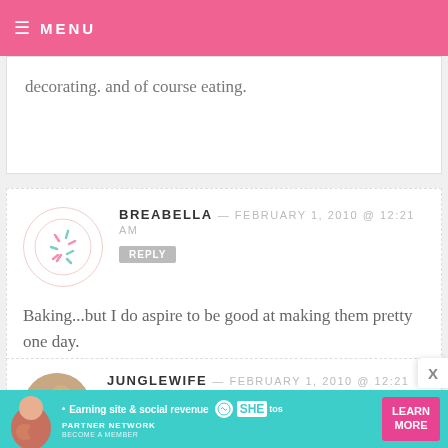MENU
decorating. and of course eating.
BREABELLA — FEBRUARY 1, 2010 @ 12:21 AM
REPLY
Baking...but I do aspire to be good at making them pretty one day.
JUNGLEWIFE — FEBRUARY 1, 2010 @ 12:21 AM
REPLY
I'd rather bake. I'm too impatient to
[Figure (infographic): SHE Partner Network advertisement banner with teal background, showing earning site and social revenue tagline, SHE logo, LEARN MORE button]